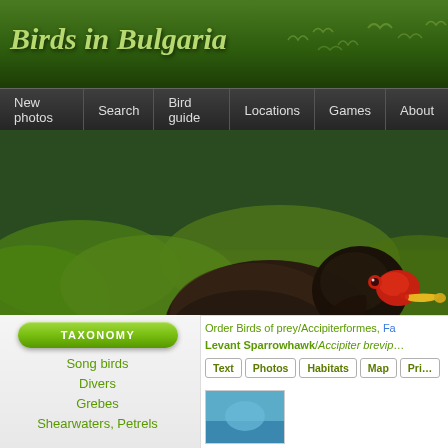Birds in Bulgaria
[Figure (screenshot): Navigation menu bar with items: New photos, Search, Bird guide, Locations, Games, About]
[Figure (photo): A dark brown moorhen bird with red and yellow beak walking on green lily pads in water]
[Figure (illustration): Green taxonomy button/badge with white text TAXONOMY]
Song birds
Divers
Grebes
Shearwaters, Petrels
Order Birds of prey/Accipiterformes, Fa... Levant Sparrowhawk/Accipiter brevip...
[Figure (screenshot): Tab buttons: Text, Photos, Habitats, Map, Pri...]
[Figure (photo): Small blue thumbnail image preview]